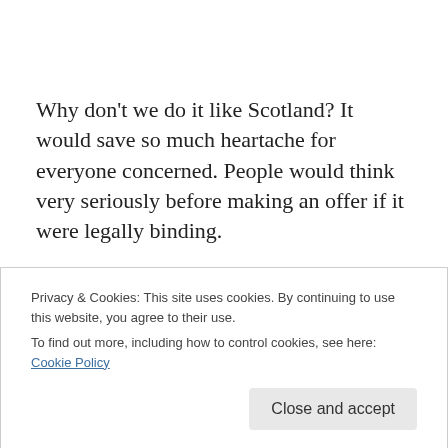Why don't we do it like Scotland? It would save so much heartache for everyone concerned. People would think very seriously before making an offer if it were legally binding.
We have a viewing on Friday. They haven't sold their house yet. Not very hopeful on that one as the one thing I have learned over that last few years is that you don't view
Privacy & Cookies: This site uses cookies. By continuing to use this website, you agree to their use. To find out more, including how to control cookies, see here: Cookie Policy
Close and accept